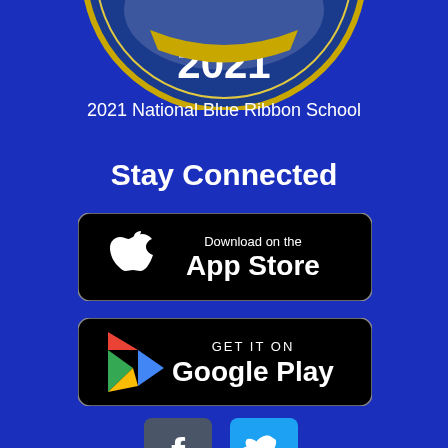[Figure (illustration): Partial view of a circular National Blue Ribbon School 2021 seal/badge at the top of the page, showing the year 2021 in large text within a dark blue and gold circular emblem]
2021 National Blue Ribbon School
Stay Connected
[Figure (logo): Download on the App Store button — black rounded rectangle with Apple logo and text 'Download on the App Store']
[Figure (logo): Get it on Google Play button — black rounded rectangle with Google Play triangle logo and text 'GET IT ON Google Play']
[Figure (logo): Facebook and Twitter social media icon buttons — Facebook icon in gray square, Twitter bird icon in blue square]